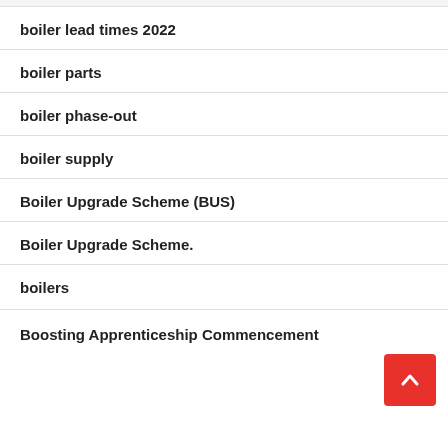boiler lead times 2022
boiler parts
boiler phase-out
boiler supply
Boiler Upgrade Scheme (BUS)
Boiler Upgrade Scheme.
boilers
Boosting Apprenticeship Commencement